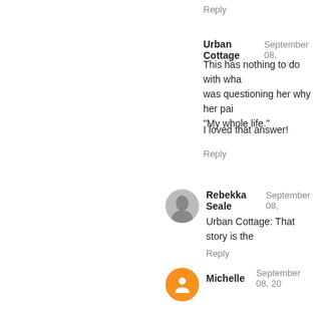Reply
Urban Cottage   September 08,
This has nothing to do with wha... was questioning her why her pai... "My whole life."
I loved that answer!
Reply
Rebekka Seale   September 08,
Urban Cottage: That story is the
Reply
Michelle   September 08, 20
Ahhh! "My Whole life!!" I love... insults a lot, but I could honestly
Reply
susie q   September 08, 2011
Oh... I'm officially retiring th...